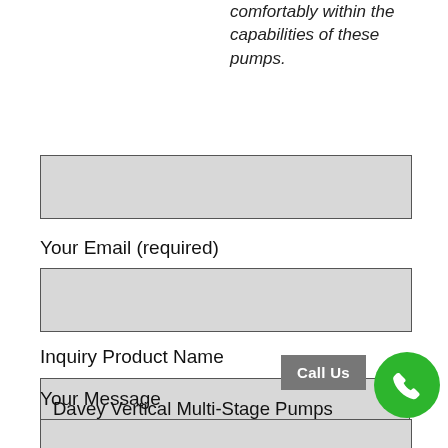comfortably within the capabilities of these pumps.
Your Email (required)
Inquiry Product Name
Davey Vertical Multi-Stage Pumps
Your Message